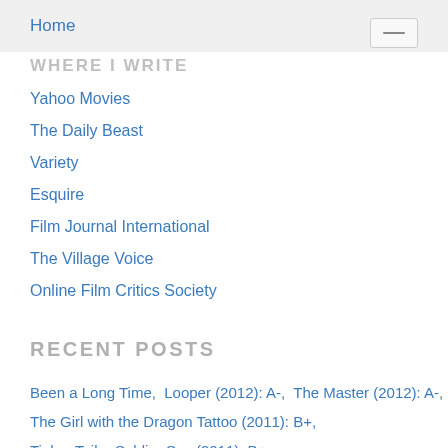Home
WHERE I WRITE
Yahoo Movies
The Daily Beast
Variety
Esquire
Film Journal International
The Village Voice
Online Film Critics Society
RECENT POSTS
Been a Long Time,  Looper (2012): A-,  The Master (2012): A-,
The Girl with the Dragon Tattoo (2011): B+,
Tinker Tailor Soldier Spy (2011): B+,